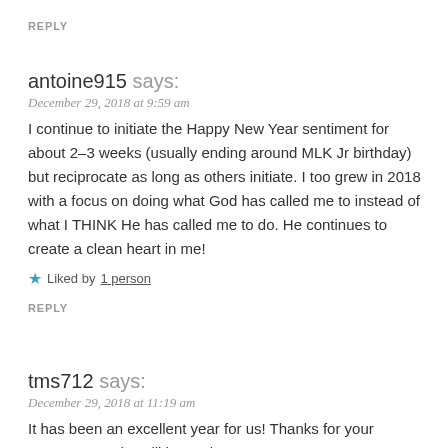REPLY
antoine915 says:
December 29, 2018 at 9:59 am
I continue to initiate the Happy New Year sentiment for about 2–3 weeks (usually ending around MLK Jr birthday) but reciprocate as long as others initiate. I too grew in 2018 with a focus on doing what God has called me to instead of what I THINK He has called me to do. He continues to create a clean heart in me!
★ Liked by 1 person
REPLY
tms712 says:
December 29, 2018 at 11:19 am
It has been an excellent year for us! Thanks for your comment. And, I will be saying Happy New Year to you every morning for the next year. LOL